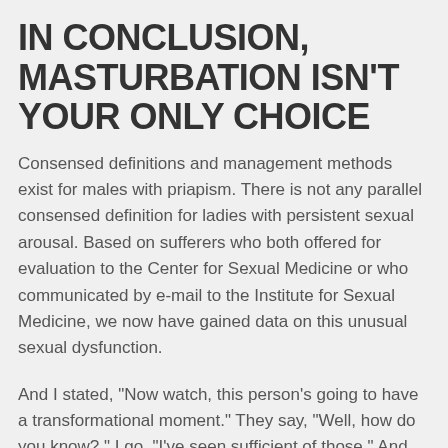IN CONCLUSION, MASTURBATION ISN'T YOUR ONLY CHOICE
Consensed definitions and management methods exist for males with priapism. There is not any parallel consensed definition for ladies with persistent sexual arousal. Based on sufferers who both offered for evaluation to the Center for Sexual Medicine or who communicated by e-mail to the Institute for Sexual Medicine, we now have gained data on this unusual sexual dysfunction.
And I stated, "Now watch, this person's going to have a transformational moment." They say, "Well, how do you know? " I go, "I've seen sufficient of those." And the subsequent